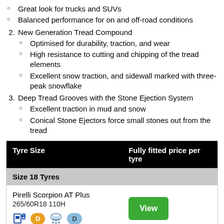Great look for trucks and SUVs
Balanced performance for on and off-road conditions
2. New Generation Tread Compound
Optimised for durability, traction, and wear
High resistance to cutting and chipping of the tread elements
Excellent snow traction, and sidewall marked with three-peak snowflake
3. Deep Tread Grooves with the Stone Ejection System
Excellent traction in mud and snow
Conical Stone Ejectors force small stones out from the tread
| Tyre Size | Fully fitted price per tyre |
| --- | --- |
| Size 18 Tyres |  |
| Pirelli Scorpion AT Plus 265/60R18 110H | View |